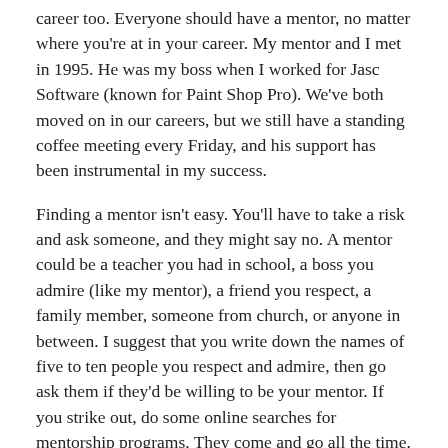career too. Everyone should have a mentor, no matter where you're at in your career. My mentor and I met in 1995. He was my boss when I worked for Jasc Software (known for Paint Shop Pro). We've both moved on in our careers, but we still have a standing coffee meeting every Friday, and his support has been instrumental in my success.
Finding a mentor isn't easy. You'll have to take a risk and ask someone, and they might say no. A mentor could be a teacher you had in school, a boss you admire (like my mentor), a friend you respect, a family member, someone from church, or anyone in between. I suggest that you write down the names of five to ten people you respect and admire, then go ask them if they'd be willing to be your mentor. If you strike out, do some online searches for mentorship programs. They come and go all the time.